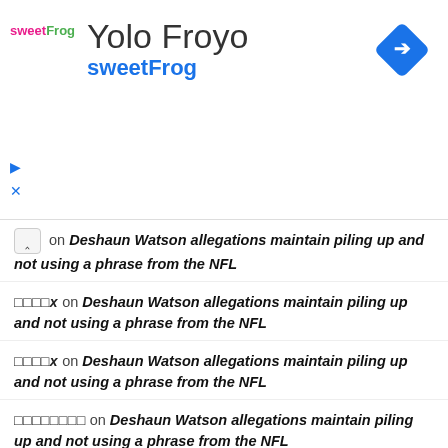[Figure (screenshot): SweetFrog Yolo Froyo advertisement banner with logo, business name, and navigation icon]
^ on Deshaun Watson allegations maintain piling up and not using a phrase from the NFL
□□□□x on Deshaun Watson allegations maintain piling up and not using a phrase from the NFL
□□□□x on Deshaun Watson allegations maintain piling up and not using a phrase from the NFL
□□□□□□□□ on Deshaun Watson allegations maintain piling up and not using a phrase from the NFL
□□□□□□□□□□□□□ on Deshaun Watson allegations maintain piling up and not using a phrase from the NFL
□□□□□□□□□□□□□ on Deshaun Watson allegations maintain piling up and not using a phrase from the NFL
□□□□□□□□ on Deshaun Watson allegations maintain piling up and not using a phrase from the NFL